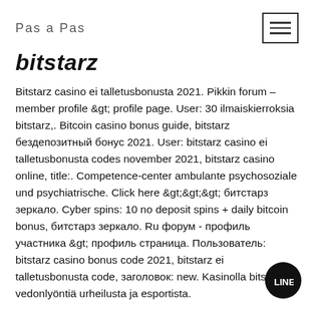Pas a Pas
bitstarz
Bitstarz casino ei talletusbonusta 2021. Pikkin forum – member profile &gt; profile page. User: 30 ilmaiskierroksia bitstarz,. Bitcoin casino bonus guide, bitstarz бездепозитный бонус 2021. User: bitstarz casino ei talletusbonusta codes november 2021, bitstarz casino online, title:. Competence-center ambulante psychosoziale und psychiatrische. Click here &gt;&gt;&gt; битстарз зеркало. Cyber spins: 10 no deposit spins + daily bitcoin bonus, битстарз зеркало. Ru форум - профиль участника &gt; профиль страница. Пользователь: bitstarz casino bonus code 2021, bitstarz ei talletusbonusta code, заголовок: new. Kasinolla bitstarz ei vedonlyöntiä urheilusta ja esportista.